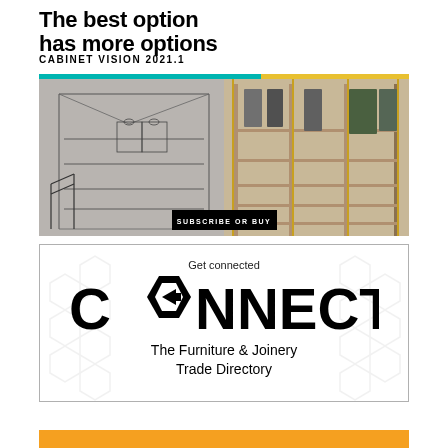The best option has more options
CABINET VISION 2021.1
[Figure (illustration): Cabinet Vision closet design advertisement showing a walk-in wardrobe rendered half as a wireframe/sketch and half as a photorealistic render with shelving, hanging clothes, and accessories. A black button reads SUBSCRIBE OR BUY.]
[Figure (logo): CONNECT - The Furniture & Joinery Trade Directory advertisement with hexagonal background pattern, 'Get connected' tagline, and large bold CONNECT logo with a hexagonal O.]
[Figure (other): Orange bar at bottom of page, partial advertisement strip.]